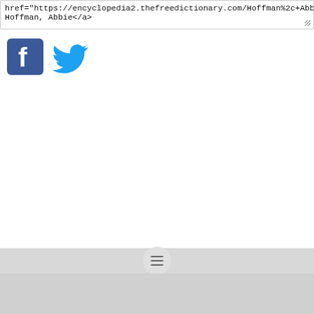href="https://encyclopedia2.thefreedictionary.com/Hoffman%2c+Abbie">
Hoffman, Abbie</a>
[Figure (logo): Facebook logo icon - blue square with white lowercase f]
[Figure (logo): Twitter logo icon - blue bird silhouette]